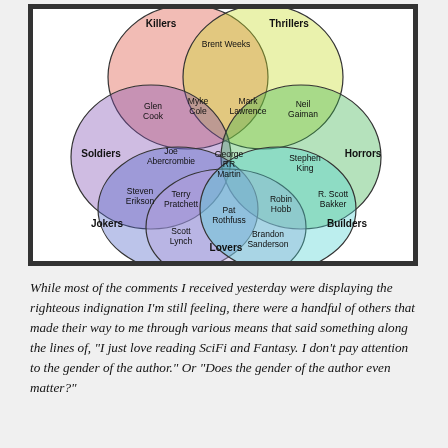[Figure (infographic): Venn diagram with 6 overlapping circles labeled: Killers (red/orange, top left), Thrillers (yellow/green, top right), Soldiers (purple, left), Horrors (green, right), Jokers (blue/purple, bottom left), Lovers (lavender, bottom), Builders (cyan, bottom right). Authors placed in intersections: Brent Weeks (Killers/Thrillers), Glen Cook (Killers/Soldiers), Myke Cole (Killers/Soldiers/Thrillers), Mark Lawrence (Killers/Thrillers), Neil Gaiman (Thrillers/Horrors), Joe Abercrombie (Soldiers/Killers), George RR Martin (center), Stephen King (Thrillers/Horrors), R. Scott Bakker (Horrors/Builders), Robin Hobb (Thrillers/Builders), Steven Erikson (Soldiers/Jokers), Terry Pratchett (Soldiers/Jokers/Lovers), Pat Rothfuss (Jokers/Lovers/Builders), Brandon Sanderson (Lovers/Builders), Scott Lynch (Jokers/Lovers).]
While most of the comments I received yesterday were displaying the righteous indignation I'm still feeling, there were a handful of others that made their way to me through various means that said something along the lines of, "I just love reading SciFi and Fantasy. I don't pay attention to the gender of the author." Or "Does the gender of the author even matter?"